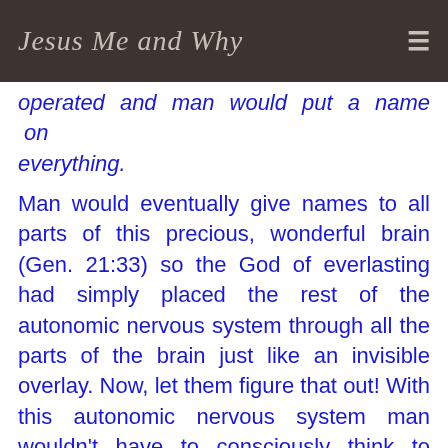Jesus Me and Why
operated and man would put a name on everything.
Man would eventually give names to all parts of this precious, wonderful brain (Gen. 21:33) so the God of everlasting had simply placed the rest of the autonomic nervous system through all the parts of the brain just like an invisible overlay. Now, let them figure that out! With this autonomic nervous system man wouldn't have to consciously think to breathe, beat his heart, dodge an unexpected flying object by reflex,